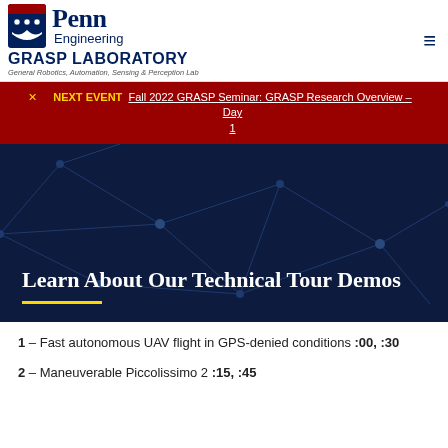[Figure (logo): Penn Engineering GRASP Laboratory logo with shield emblem]
NEXT EVENT Fall 2022 GRASP Seminar: GRASP Research Overview – Day 1
Learn About Our Technical Tour Demos
1 – Fast autonomous UAV flight in GPS-denied conditions :00, :30
2 – Maneuverable Piccolissimo 2 :15, :45